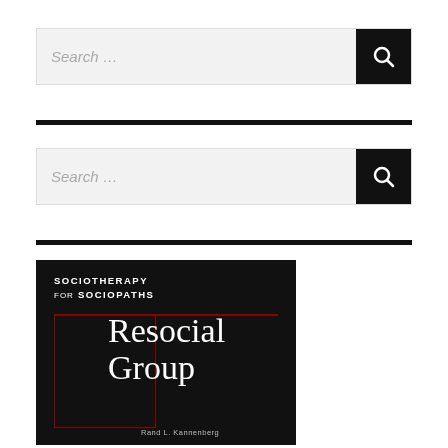[Figure (screenshot): Search bar with text 'Search ...' and a black search button with magnifying glass icon]
[Figure (screenshot): Second search bar with text 'Search ...' and a black search button with magnifying glass icon]
[Figure (illustration): Book cover for 'Sociotherapy for Sociopaths: Resocial Group' by Rand L. Kannenberg. Black background with white text and red border/line accents.]